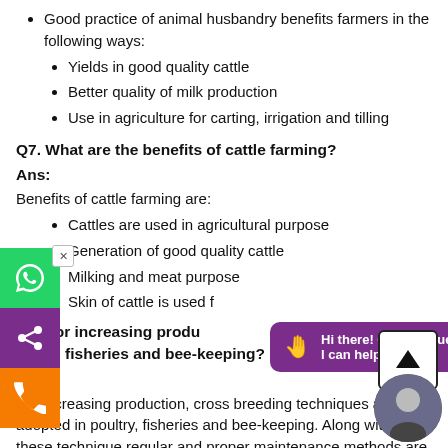Good practice of animal husbandry benefits farmers in the following ways:
Yields in good quality cattle
Better quality of milk production
Use in agriculture for carting, irrigation and tilling
Q7. What are the benefits of cattle farming?
Ans:
Benefits of cattle farming are:
Cattles are used in agricultural purpose
Generation of good quality cattle
Milking and meat purpose
Skin of cattle is used for leather and hide
Q8. For increasing production in poultry, fisheries and bee-keeping?
Ans:
For increasing production, cross breeding techniques are adopted in poultry, fisheries and bee-keeping. Along with these technique regular and proper maintenance methods are